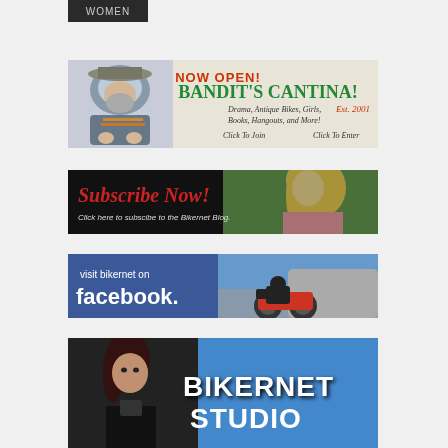[Figure (screenshot): Dark button labeled 'Women']
[Figure (illustration): Bandit's Cantina banner ad: NOW OPEN! BANDIT'S CANTINA! Drama, Antique Bikes, Girls, Books, Hangouts, and More! Est. 2001. Click To Join / Click To Enter. Features cartoon bandit illustration.]
[Figure (screenshot): Subscribe Now! banner ad for Bikernet Blog featuring blonde woman. Text: Click here to subscibe to the Bikernet Blog.]
[Figure (screenshot): Visit bikernet on facebook. banner ad with blue background and motorcycle rider image.]
[Figure (screenshot): Bikernet Studio banner ad showing brunette woman and blue sky text BIKERNET STUDIO.]